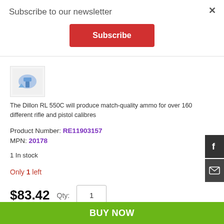Subscribe to our newsletter
Subscribe
[Figure (photo): Product image thumbnail of Dillon RL 550C]
The Dillon RL 550C will produce match-quality ammo for over 160 different rifle and pistol calibres
Product Number: RE11903157
MPN: 20178
1 In stock
Only 1 left
$83.42   Qty: 1
BUY NOW